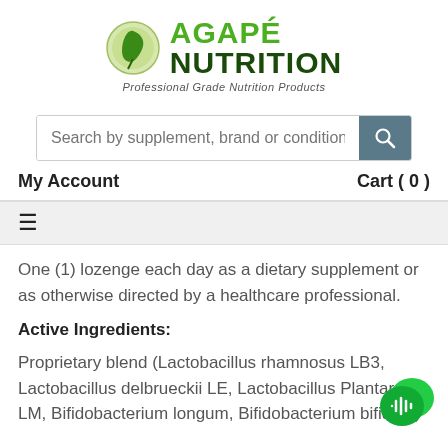[Figure (logo): Agapé Nutrition logo with green leaf circle icon and green/dark green brand name text, tagline 'Professional Grade Nutrition Products']
Search by supplement, brand or condition...
My Account    Cart ( 0 )
≡
One (1) lozenge each day as a dietary supplement or as otherwise directed by a healthcare professional.
Active Ingredients:
Proprietary blend (Lactobacillus rhamnosus LB3, Lactobacillus delbrueckii LE, Lactobacillus Plantarum LM, Bifidobacterium longum, Bifidobacterium bifidum)